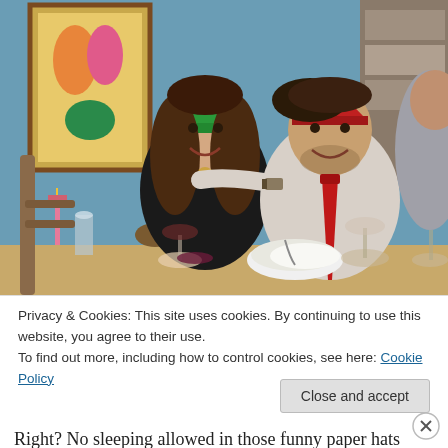[Figure (photo): A man and woman sitting at a holiday dinner table, both smiling at camera. The woman wears a green paper crown/hat and the man wears a red paper hat. The man has a red tie and light shirt. Behind them is a colorful painting on a blue wall. The table has wine glasses, a bowl of food, and a spoon. Another person is partially visible on the right.]
Privacy & Cookies: This site uses cookies. By continuing to use this website, you agree to their use.
To find out more, including how to control cookies, see here: Cookie Policy
Close and accept
Right? No sleeping allowed in those funny paper hats